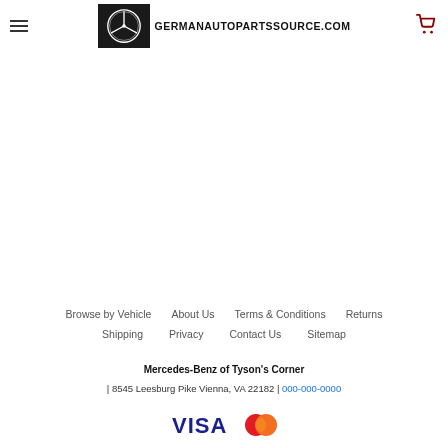GERMANAUTOPARTSSOURCE.COM
Browse by Vehicle | About Us | Terms & Conditions | Returns | Shipping | Privacy | Contact Us | Sitemap
Mercedes-Benz of Tyson's Corner | 8545 Leesburg Pike Vienna, VA 22182 | 000-000-0000
[Figure (logo): VISA and Mastercard payment icons]